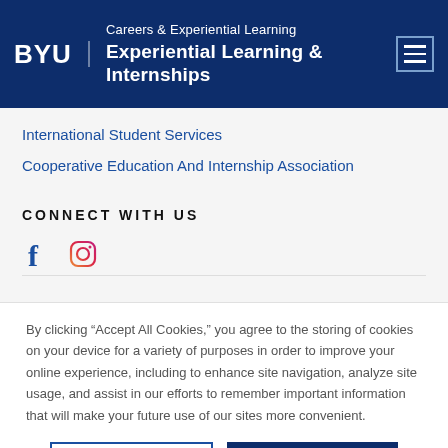BYU | Careers & Experiential Learning | Experiential Learning & Internships
International Student Services
Cooperative Education And Internship Association
CONNECT WITH US
[Figure (other): Social media icons: Facebook (f) and Instagram camera icon]
By clicking “Accept All Cookies,” you agree to the storing of cookies on your device for a variety of purposes in order to improve your online experience, including to enhance site navigation, analyze site usage, and assist in our efforts to remember important information that will make your future use of our sites more convenient.
Cookies Settings | Accept All Cookies